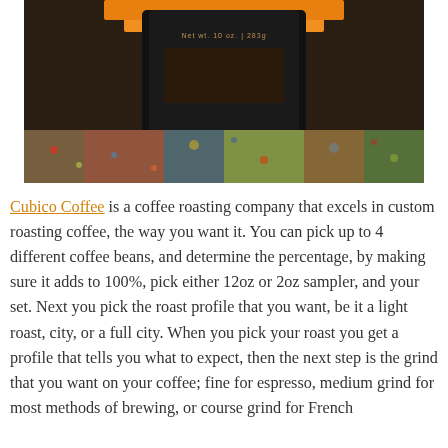[Figure (photo): A close-up photo of a dark coffee bag with an orange top section, placed on a colorful textured carpet/rug. The bag appears to have some text on it, partially readable as a weight indicator.]
Cubico Coffee is a coffee roasting company that excels in custom roasting coffee, the way you want it. You can pick up to 4 different coffee beans, and determine the percentage, by making sure it adds to 100%, pick either 12oz or 2oz sampler, and your set. Next you pick the roast profile that you want, be it a light roast, city, or a full city. When you pick your roast you get a profile that tells you what to expect, then the next step is the grind that you want on your coffee; fine for espresso, medium grind for most methods of brewing, or course grind for French